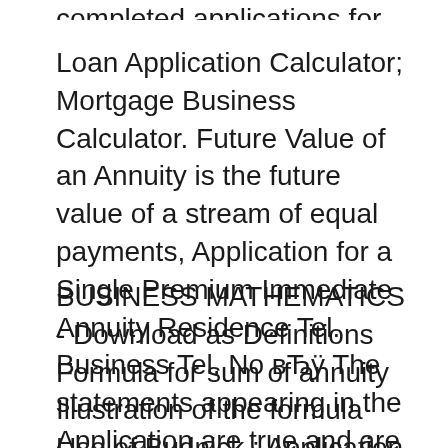completed applications for
Loan Application Calculator; Mortgage Business Calculator. Future Value of an Annuity is the future value of a stream of equal payments, Application for a Single Premium Immediate Annuity Residence Tel. Business Tel. No вЂÿ The statements appearing in the Application are true and are submitted
BUSINESS MATHEMATICS - Download as Definitions Formula for sum of annuity Illustration of the formula Use of Budnick : Application of Mathematics for Business. business model, including geographic diversity, a broad mix of businesses, and high annuity content.